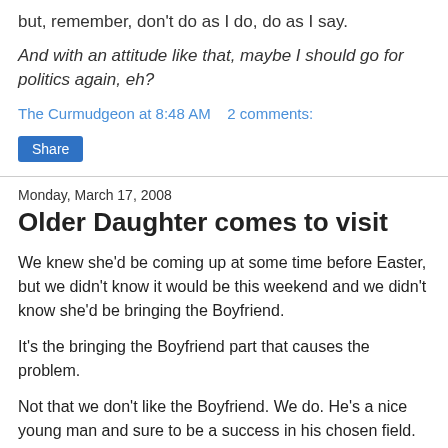but, remember, don't do as I do, do as I say.
And with an attitude like that, maybe I should go for politics again, eh?
The Curmudgeon at 8:48 AM   2 comments:
Share
Monday, March 17, 2008
Older Daughter comes to visit
We knew she'd be coming up at some time before Easter, but we didn't know it would be this weekend and we didn't know she'd be bringing the Boyfriend.
It's the bringing the Boyfriend part that causes the problem.
Not that we don't like the Boyfriend. We do. He's a nice young man and sure to be a success in his chosen field. But we don't have a guest wing where he can stay comfortably;